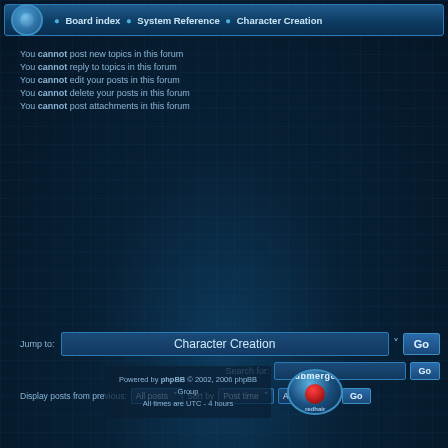Board index · System Reference · Character Creation
You cannot post new topics in this forum
You cannot reply to topics in this forum
You cannot edit your posts in this forum
You cannot delete your posts in this forum
You cannot post attachments in this forum
Jump to: Character Creation  Go
Search for:  Go
Display posts from previous: All posts ▼  Sort by  Post time ▼  Ascending ▼  Go
Powered by phpBB © 2002, 2006 phpBB Group
All times are UTC - 4 hours